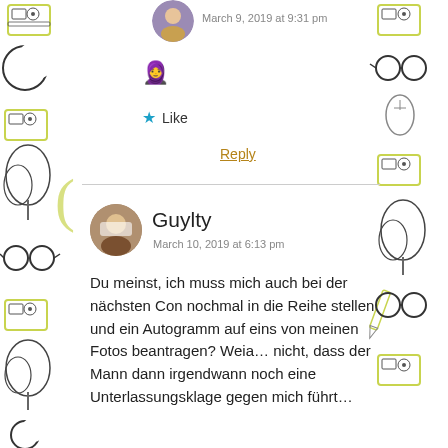[Figure (illustration): Decorative left border with illustrated elements: glasses, radio, tree, moon shapes, parentheses in yellow-green and black ink style]
[Figure (illustration): Decorative right border with illustrated elements: glasses, radio, tree, pencil, mouse in yellow-green and black ink style]
March 9, 2019 at 9:31 pm
[Figure (illustration): Girl with headscarf emoji icon]
★ Like
Reply
Guylty
March 10, 2019 at 6:13 pm
Du meinst, ich muss mich auch bei der nächsten Con nochmal in die Reihe stellen und ein Autogramm auf eins von meinen Fotos beantragen? Weia… nicht, dass der Mann dann irgendwann noch eine Unterlassungsklage gegen mich führt…